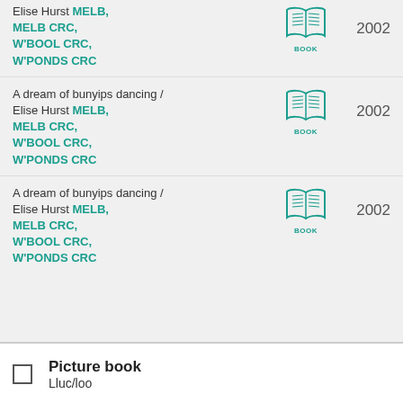Elise Hurst MELB, MELB CRC, W'BOOL CRC, W'PONDS CRC [BOOK icon] 2002
A dream of bunyips dancing / Elise Hurst MELB, MELB CRC, W'BOOL CRC, W'PONDS CRC [BOOK icon] 2002
A dream of bunyips dancing / Elise Hurst MELB, MELB CRC, W'BOOL CRC, W'PONDS CRC [BOOK icon] 2002
Picture book
Lluc/loo